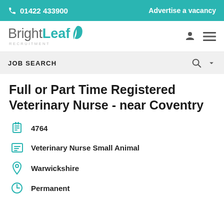📞 01422 433900 | Advertise a vacancy
[Figure (logo): BrightLeaf Recruitment logo with teal leaf icon]
JOB SEARCH
Full or Part Time Registered Veterinary Nurse - near Coventry
4764
Veterinary Nurse Small Animal
Warwickshire
Permanent